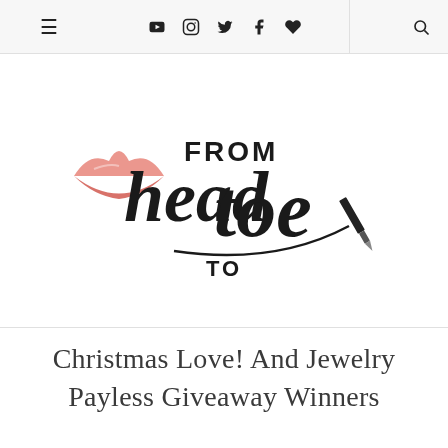≡  ▶  📷  🐦  f  ♥  🔍
[Figure (logo): From Head To Toe blog logo with red lips icon and cursive script text reading 'head toe' with 'FROM' and 'TO' in bold sans-serif, accompanied by a lipstick/pen illustration]
Christmas Love! And Jewelry Payless Giveaway Winners